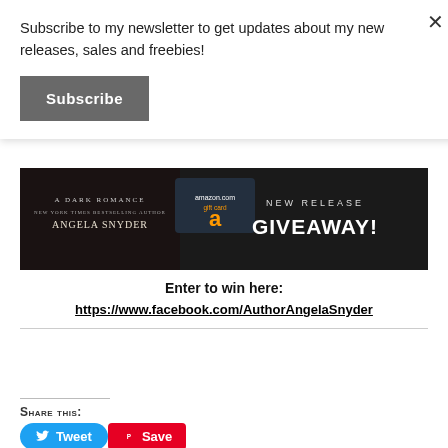Subscribe to my newsletter to get updates about my new releases, sales and freebies!
Subscribe
[Figure (photo): Dark promotional banner for a new release giveaway featuring Angela Snyder's dark romance book, an Amazon gift card, and bold text reading NEW RELEASE GIVEAWAY!]
Enter to win here:
https://www.facebook.com/AuthorAngelaSnyder
Share this:
Tweet
Save